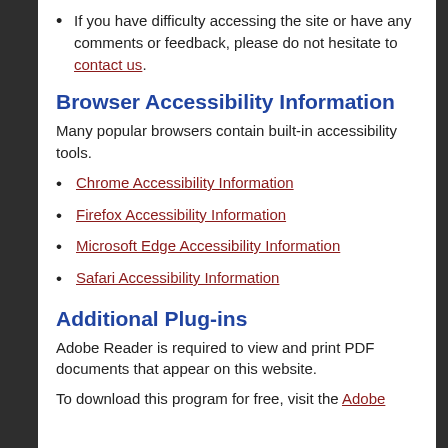If you have difficulty accessing the site or have any comments or feedback, please do not hesitate to contact us.
Browser Accessibility Information
Many popular browsers contain built-in accessibility tools.
Chrome Accessibility Information
Firefox Accessibility Information
Microsoft Edge Accessibility Information
Safari Accessibility Information
Additional Plug-ins
Adobe Reader is required to view and print PDF documents that appear on this website.
To download this program for free, visit the Adobe